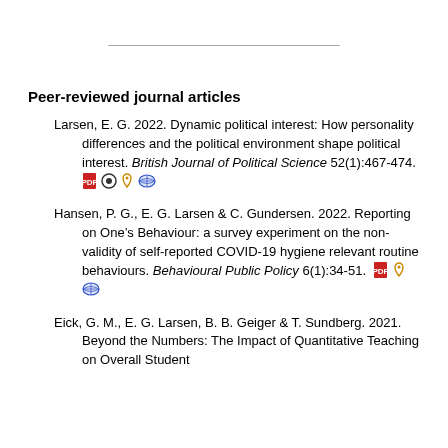Peer-reviewed journal articles
Larsen, E. G. 2022. Dynamic political interest: How personality differences and the political environment shape political interest. British Journal of Political Science 52(1):467-474.
Hansen, P. G., E. G. Larsen & C. Gundersen. 2022. Reporting on One’s Behaviour: a survey experiment on the non-validity of self-reported COVID-19 hygiene relevant routine behaviours. Behavioural Public Policy 6(1):34-51.
Eick, G. M., E. G. Larsen, B. B. Geiger & T. Sundberg. 2021. Beyond the Numbers: The Impact of Quantitative Teaching on Overall Student